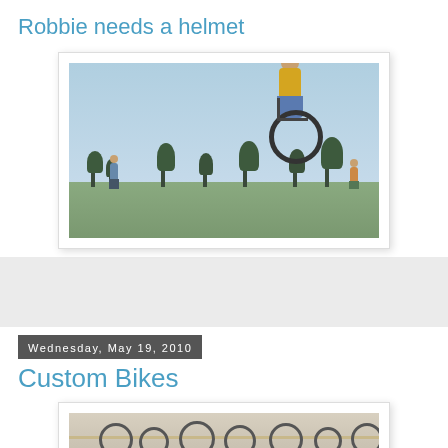Robbie needs a helmet
[Figure (photo): A BMX rider doing a jump trick high in the air on a bicycle, with spectators and trees visible in the background against a blue sky]
[Figure (photo): A gray/empty banner area]
Wednesday, May 19, 2010
Custom Bikes
[Figure (photo): A workshop or bike shop interior showing bicycle parts, wheels, and tools organized on a wall-mounted storage system]